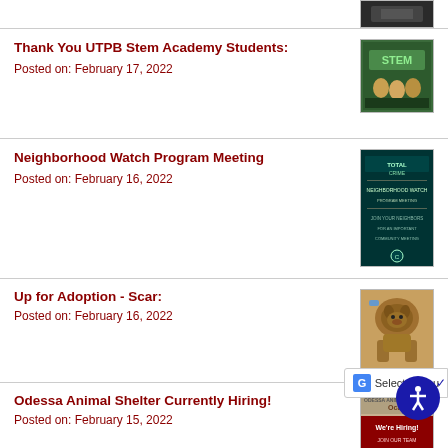[Figure (photo): Thumbnail photo at top right, partially visible dark image]
Thank You UTPB Stem Academy Students:
Posted on: February 17, 2022
[Figure (photo): Photo of STEM Academy students group under STEM sign]
Neighborhood Watch Program Meeting
Posted on: February 16, 2022
[Figure (photo): Dark teal flyer for Neighborhood Watch Program Meeting]
Up for Adoption - Scar:
Posted on: February 16, 2022
[Figure (photo): Photo of a dog named Scar up for adoption]
Odessa Animal Shelter Currently Hiring!
Posted on: February 15, 2022
[Figure (photo): Odessa Animal Shelter hiring flyer with 'We're Hiring' text]